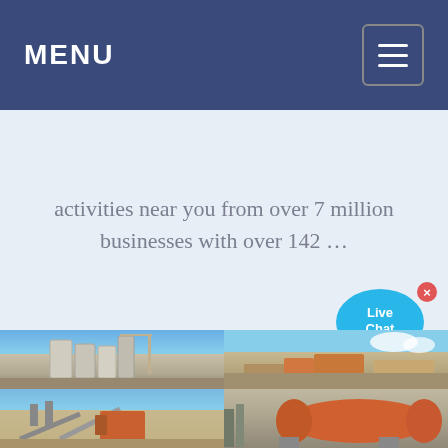MENU
activities near you from over 7 million businesses with over 142 …
[Figure (photo): Four industrial facility photos: top-left shows cement plant silos with crane, top-right shows open-pit quarry/crushing operation, bottom-left shows industrial conveyor and crusher equipment, bottom-right shows large orange ball mill machinery]
[Figure (illustration): Live Chat bubble icon in cyan/blue with text 'Live Chat' and a close X button]